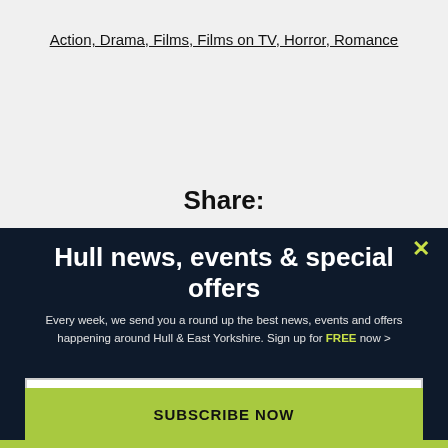Action, Drama, Films, Films on TV, Horror, Romance
Share:
Hull news, events & special offers
Every week, we send you a round up the best news, events and offers happening around Hull & East Yorkshire. Sign up for FREE now >
Email address
SUBSCRIBE NOW